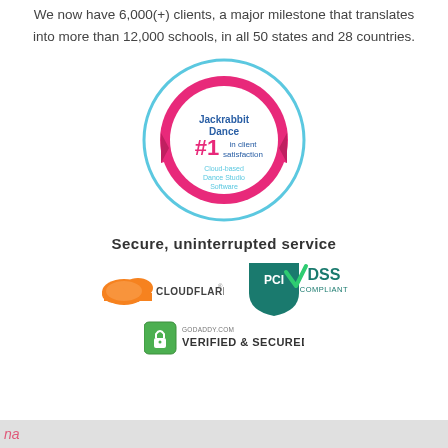We now have 6,000(+) clients, a major milestone that translates into more than 12,000 schools, in all 50 states and 28 countries.
[Figure (logo): Jackrabbit Dance #1 in client satisfaction Cloud-based Dance Studio Software badge/seal — circular badge with pink ribbon, blue circle outline, magenta inner circle, with text: Jackrabbit Dance, #1 in client satisfaction, Cloud-based Dance Studio Software]
Secure, uninterrupted service
[Figure (logo): Cloudflare logo — orange cloud icon with CLOUDFLARE text]
[Figure (logo): PCI DSS Compliant logo — teal/green shield with PCI checkmark and DSS COMPLIANT text]
[Figure (logo): GoDaddy Verified & Secured badge — padlock icon with VERIFIED & SECURED text]
na